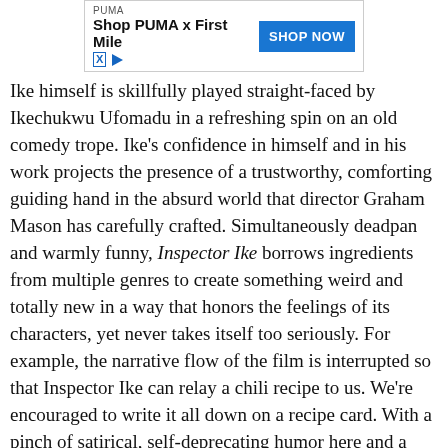[Figure (other): PUMA advertisement banner: 'Shop PUMA x First Mile' with a blue 'SHOP NOW' button]
Ike himself is skillfully played straight-faced by Ikechukwu Ufomadu in a refreshing spin on an old comedy trope. Ike's confidence in himself and in his work projects the presence of a trustworthy, comforting guiding hand in the absurd world that director Graham Mason has carefully crafted. Simultaneously deadpan and warmly funny, Inspector Ike borrows ingredients from multiple genres to create something weird and totally new in a way that honors the feelings of its characters, yet never takes itself too seriously. For example, the narrative flow of the film is interrupted so that Inspector Ike can relay a chili recipe to us. We're encouraged to write it all down on a recipe card. With a pinch of satirical, self-deprecating humor here and a dash of giallo-esque deep red flashbacks there—all structured as a Columbo-style detective serial—you get a dish so hearty that you'll find yourself clamoring for another bowl. In fact, after the credits rolled, I wished I lived in a time and place where I could tune into